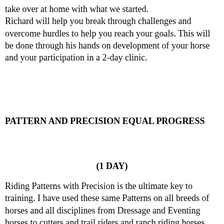take over at home with what we started.
Richard will help you break through challenges and overcome hurdles to help you reach your goals. This will be done through his hands on development of your horse and your participation in a 2-day clinic.
PATTERN AND PRECISION EQUAL PROGRESS
(1 DAY)
Riding Patterns with Precision is the ultimate key to training. I have used these same Patterns on all breeds of horses and all disciplines from Dressage and Eventing horses to cutters and trail riders and ranch riding horses.